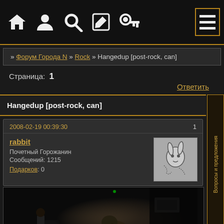[Figure (screenshot): Dark forum website navigation bar with icons: home, user, search, edit, key, and hamburger menu]
» Форум Города N » Rock » Hangedup [post-rock, can]
Страница: 1
Ответить
Hangedup [post-rock, can]
2008-02-19 00:39:30
rabbit
Почетный Горожанин
Сообщений: 1215
Подарков: 0
[Figure (photo): Concert photo showing musicians on a dark stage]
Вопросы и предложения